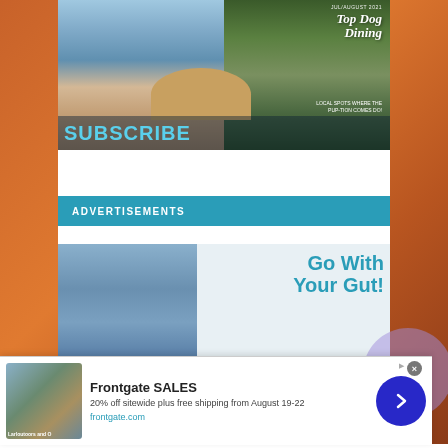[Figure (screenshot): Magazine cover/subscription image showing a person with a dog on a deck, text reading 'Top Dog Dining' and 'SUBSCRIBE' in large cyan letters on a banner overlay, with a date 'JUL/AUGUST 2021']
ADVERTISEMENTS
[Figure (screenshot): Advertisement image showing a person in a blue shirt on the left, with large teal text reading 'Go With Your Gut!' on the right]
[Figure (screenshot): Popup advertisement for Frontgate SALES showing outdoor furniture image on the left, with title 'Frontgate SALES', description '20% off sitewide plus free shipping from August 19-22', domain 'frontgate.com', a close button (x), an ad badge, and a blue arrow button circle]